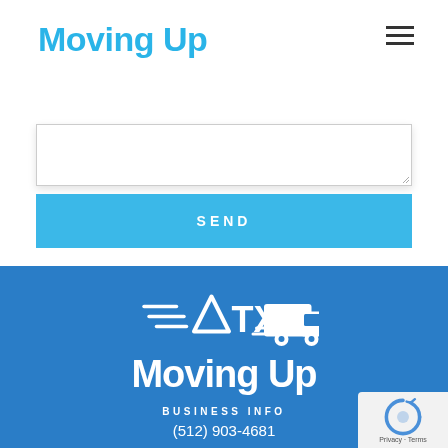Moving Up
[Figure (screenshot): Text area input box with resize handle and SEND button below it]
[Figure (logo): ATX Moving Up logo — white truck with speed lines and triangle accent, white 'Moving Up' wordmark on blue background]
BUSINESS INFO
(512) 903-4681
contact@movingupatx.com